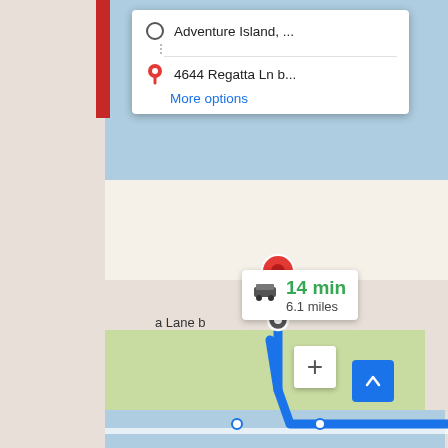[Figure (map): Google Maps screenshot showing a driving route from Adventure Island to 4644 Regatta Ln in Orange Beach, AL. The blue route travels along the coast. A popup shows 14 min / 6.1 miles driving time. Landmarks include Doc's Seafood Shack & Oyster Bar, Turquoise Place, Orange Beach. Route 180 and 182 are visible.]